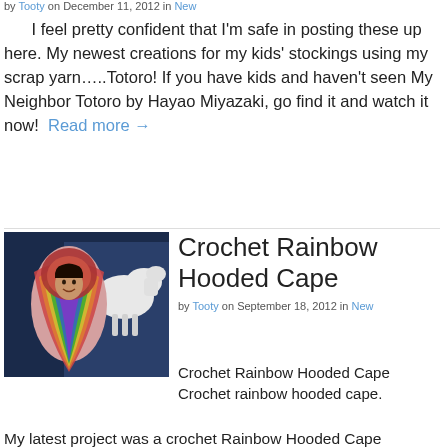by Tooty on December 11, 2012 in New
I feel pretty confident that I'm safe in posting these up here. My newest creations for my kids' stockings using my scrap yarn…..Totoro! If you have kids and haven't seen My Neighbor Totoro by Hayao Miyazaki, go find it and watch it now!  Read more →
Crochet Rainbow Hooded Cape
by Tooty on September 18, 2012 in New
[Figure (photo): A girl wearing a colorful crocheted rainbow hooded cape, smiling, with a white horse/unicorn in the background]
Crochet Rainbow Hooded Cape Crochet rainbow hooded cape. My latest project was a crochet Rainbow Hooded Cape